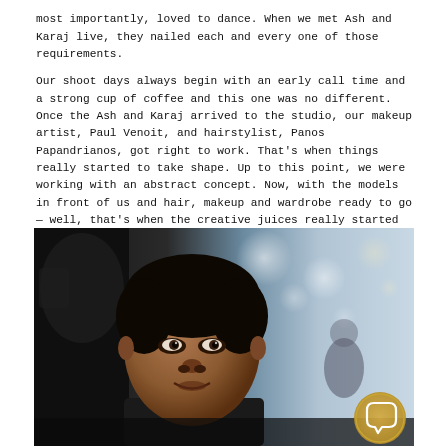most importantly, loved to dance. When we met Ash and Karaj live, they nailed each and every one of those requirements.
Our shoot days always begin with an early call time and a strong cup of coffee and this one was no different. Once the Ash and Karaj arrived to the studio, our makeup artist, Paul Venoit, and hairstylist, Panos Papandrianos, got right to work. That's when things really started to take shape. Up to this point, we were working with an abstract concept. Now, with the models in front of us and hair, makeup and wardrobe ready to go — well, that's when the creative juices really started to flow. And our insecurities too. "Will the background work well with the clothing?" "Should the wig be green or pink?" "Do we need more rings?" "Is the lighting too bright?"
[Figure (photo): A young Black male model sitting in a makeup chair in a studio. A person in a dark t-shirt stands behind him working on his hair. The background shows blurred studio lights and mirrors. A gold circular chat icon is visible in the bottom right corner.]